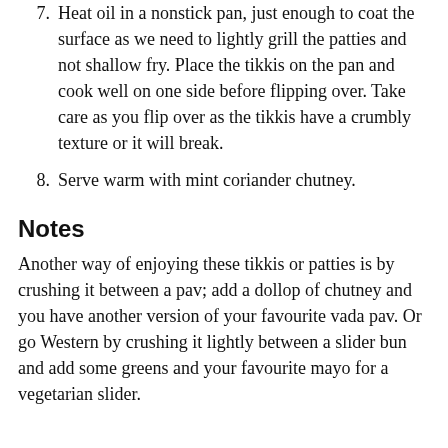7. Heat oil in a nonstick pan, just enough to coat the surface as we need to lightly grill the patties and not shallow fry. Place the tikkis on the pan and cook well on one side before flipping over. Take care as you flip over as the tikkis have a crumbly texture or it will break.
8. Serve warm with mint coriander chutney.
Notes
Another way of enjoying these tikkis or patties is by crushing it between a pav; add a dollop of chutney and you have another version of your favourite vada pav. Or go Western by crushing it lightly between a slider bun and add some greens and your favourite mayo for a vegetarian slider.